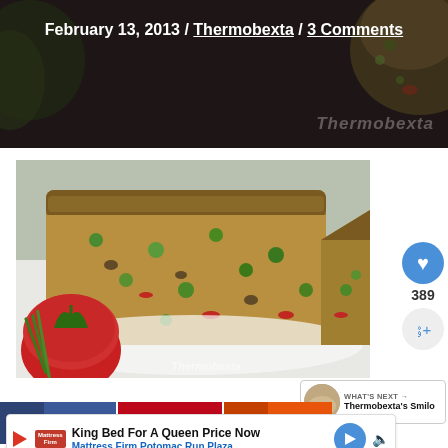February 13, 2013 / Thermobexta / 3 Comments
[Figure (photo): Sliced vegetable loaf/frittata on a white plate with tomatoes and green beans, with Thermobexta watermark]
389
WHAT'S NEXT → Thermobexta's Smilo
Facebook share button, Pinterest button, Yummly button
King Bed For A Queen Price Now — Mattress Firm Potomac Run Plaza